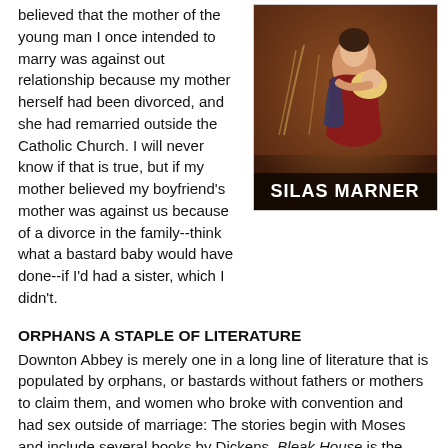believed that the mother of the young man I once intended to marry was against out relationship because my mother herself had been divorced, and she had remarried outside the Catholic Church. I will never know if that is true, but if my mother believed my boyfriend's mother was against us because of a divorce in the family--think what a bastard baby would have done--if I'd had a sister, which I didn't.
[Figure (illustration): Book cover of Silas Marner showing a painting of a woman in a red dress holding a baby, with the title SILAS MARNER in white text at the bottom]
ORPHANS A STAPLE OF LITERATURE
Downton Abbey is merely one in a long line of literature that is populated by orphans, or bastards without fathers or mothers to claim them, and women who broke with convention and had sex outside of marriage: The stories begin with Moses and include several books by Dickens, Bleak House is the one that has the unfortunate birth mother, Lady Dodlock (rhymes with wedlock), who must keep the